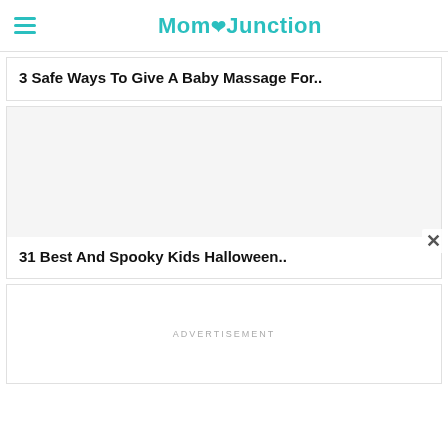MomJunction
3 Safe Ways To Give A Baby Massage For..
[Figure (photo): Image placeholder for Halloween article]
31 Best And Spooky Kids Halloween..
ADVERTISEMENT